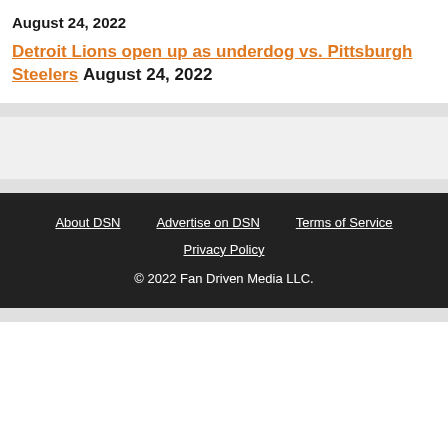August 24, 2022
Detroit Lions open up as underdog vs. Pittsburgh Steelers August 24, 2022
About DSN  Advertise on DSN  Terms of Service  Privacy Policy  © 2022 Fan Driven Media LLC.